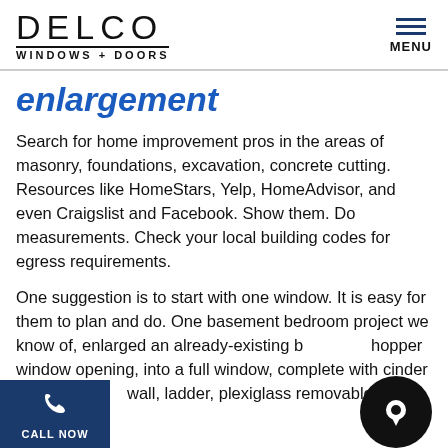DELCO WINDOWS + DOORS
enlargement
Search for home improvement pros in the areas of masonry, foundations, excavation, concrete cutting. Resources like HomeStars, Yelp, HomeAdvisor, and even Craigslist and Facebook. Show them. Do measurements. Check your local building codes for egress requirements.
One suggestion is to start with one window. It is easy for them to plan and do. One basement bedroom project we know of, enlarged an already-existing basement hopper window opening, into a full window, complete with cinder block retaining wall, ladder, plexiglass removable cover, drainage